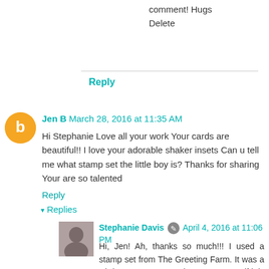comment! Hugs
Delete
Reply
Jen B  March 28, 2016 at 11:35 AM
Hi Stephanie Love all your work Your cards are beautiful!! I love your adorable shaker insets Can u tell me what stamp set the little boy is? Thanks for sharing Your are so talented
Reply
▾ Replies
Stephanie Davis  April 4, 2016 at 11:06 PM
Hi, Jen! Ah, thanks so much!!! I used a stamp set from The Greeting Farm. It was a Christmas stamp set, that I'm not sure if it is still available. I showed it in one of my haul videos. Thank you so much for your sweet compliments!